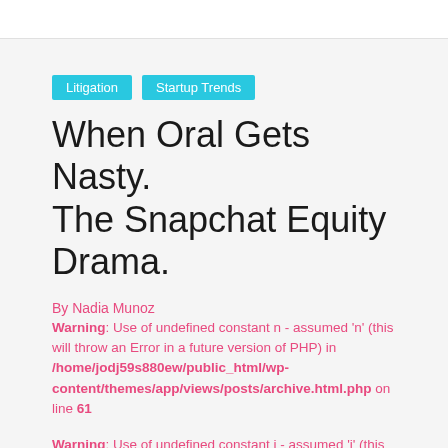Litigation
Startup Trends
When Oral Gets Nasty. The Snapchat Equity Drama.
By Nadia Munoz
Warning: Use of undefined constant n - assumed 'n' (this will throw an Error in a future version of PHP) in /home/jodj59s880ew/public_html/wp-content/themes/app/views/posts/archive.html.php on line 61
Warning: Use of undefined constant j - assumed 'j' (this will throw an Error in a future version of PHP) in /home/jodj59s880ew/public_html/wp-content/themes/app/views/posts/archive.html.php